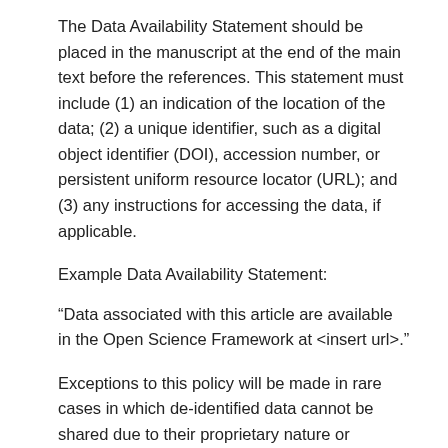The Data Availability Statement should be placed in the manuscript at the end of the main text before the references. This statement must include (1) an indication of the location of the data; (2) a unique identifier, such as a digital object identifier (DOI), accession number, or persistent uniform resource locator (URL); and (3) any instructions for accessing the data, if applicable.
Example Data Availability Statement:
“Data associated with this article are available in the Open Science Framework at <insert url>.”
Exceptions to this policy will be made in rare cases in which de-identified data cannot be shared due to their proprietary nature or participant privacy concerns. See more detailed information.